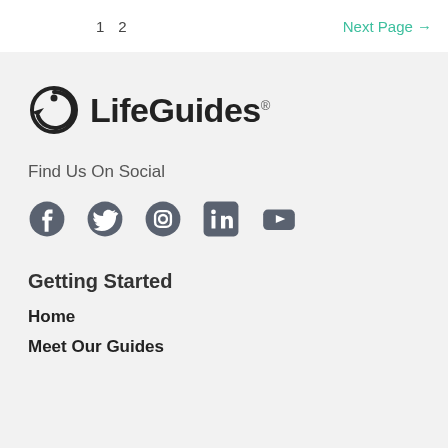1  2  Next Page →
[Figure (logo): LifeGuides logo with stylized circular icon and text 'LifeGuides®']
Find Us On Social
[Figure (infographic): Social media icons: Facebook, Twitter, Instagram, LinkedIn, YouTube]
Getting Started
Home
Meet Our Guides